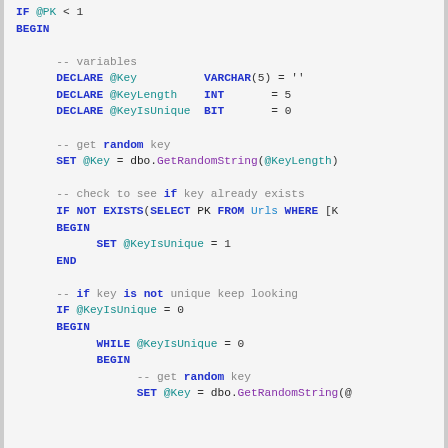SQL code block showing variable declarations, random key generation, uniqueness check, and while loop for key generation